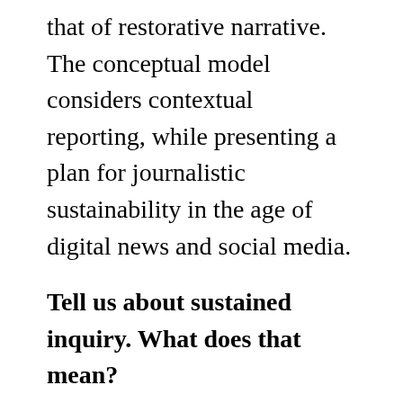that of restorative narrative. The conceptual model considers contextual reporting, while presenting a plan for journalistic sustainability in the age of digital news and social media.
Tell us about sustained inquiry. What does that mean?
“Sustained inquiry” is one of the characteristics of restorative narrative as defined by Images & Voices of Hope. Recovery from a large impact event takes time